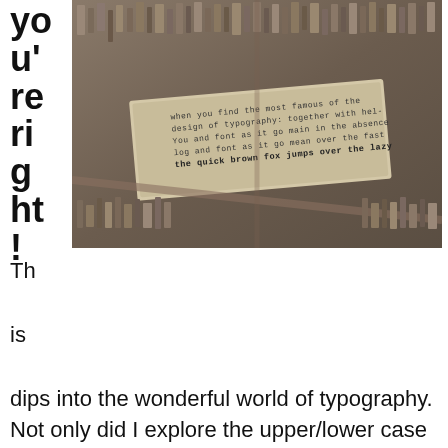you're right!
[Figure (photo): Photograph of metal movable type letters in a wooden type tray, with a block showing reversed text including 'the quick brown fox jumps over the lazy dog' and other typography-related text.]
This dips into the wonderful world of typography.  Not only did I explore the upper/lower case question but, font, size and space arrived into play as well. I like to make announcing templates for myself and to share with others: basketball, volleyball and etc. I decided I needed to determine a great combination of the aforementioned to ensure the most efficient forms as well as helping me decide